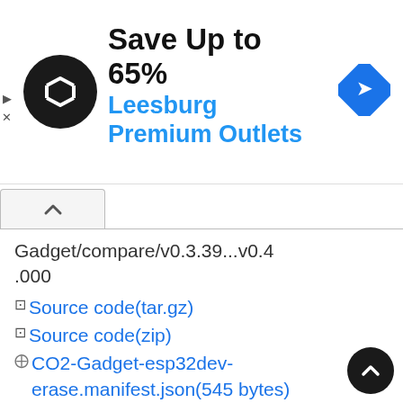[Figure (screenshot): Advertisement banner: circular black logo with white arrows, headline 'Save Up to 65%', subheading 'Leesburg Premium Outlets' in blue, blue diamond navigation icon on right, play and close controls on left edge]
Gadget/compare/v0.3.39...v0.4.000
Source code(tar.gz)
Source code(zip)
CO2-Gadget-esp32dev-erase.manifest.json(545 bytes)
CO2-Gadget-esp32dev-sandwich-erase.manifest.json(563 bytes)
CO2-Gadget-esp32dev-sandwich-v0.4.000.bin(1.81 MB)
CO2-Gadget-esp32dev-sandwich.manifest.json(556